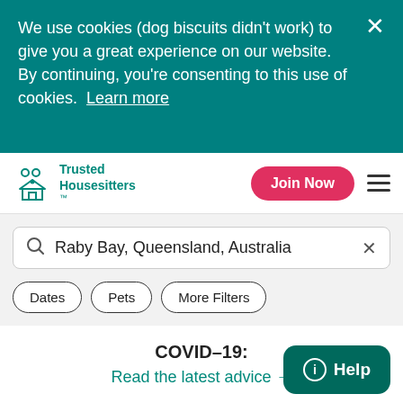We use cookies (dog biscuits didn't work) to give you a great experience on our website. By continuing, you're consenting to this use of cookies. Learn more
[Figure (logo): Trusted Housesitters logo with teal icon of two people and a house]
Join Now
Raby Bay, Queensland, Australia
Dates
Pets
More Filters
COVID-19:
Read the latest advice →
Help